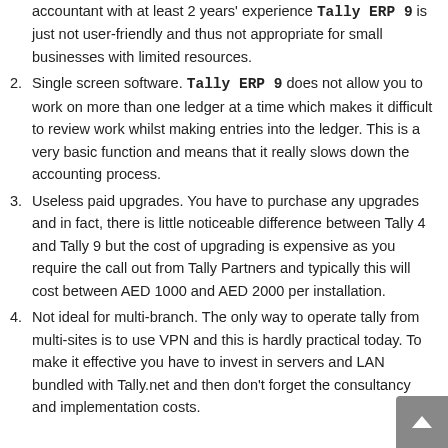accountant with at least 2 years' experience Tally ERP 9 is just not user-friendly and thus not appropriate for small businesses with limited resources.
Single screen software. Tally ERP 9 does not allow you to work on more than one ledger at a time which makes it difficult to review work whilst making entries into the ledger. This is a very basic function and means that it really slows down the accounting process.
Useless paid upgrades. You have to purchase any upgrades and in fact, there is little noticeable difference between Tally 4 and Tally 9 but the cost of upgrading is expensive as you require the call out from Tally Partners and typically this will cost between AED 1000 and AED 2000 per installation.
Not ideal for multi-branch. The only way to operate tally from multi-sites is to use VPN and this is hardly practical today. To make it effective you have to invest in servers and LAN bundled with Tally.net and then don't forget the consultancy and implementation costs.